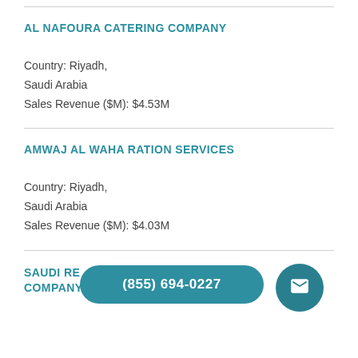AL NAFOURA CATERING COMPANY
Country: Riyadh,
Saudi Arabia
Sales Revenue ($M): $4.53M
AMWAJ AL WAHA RATION SERVICES
Country: Riyadh,
Saudi Arabia
Sales Revenue ($M): $4.03M
SAUDI RESTAUR... POPULAR CUISINE COMPANY